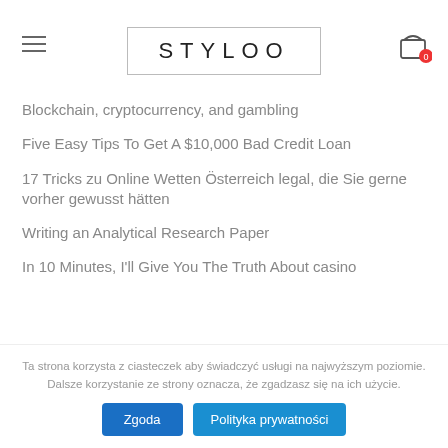STYLOO
Blockchain, cryptocurrency, and gambling
Five Easy Tips To Get A $10,000 Bad Credit Loan
17 Tricks zu Online Wetten Österreich legal, die Sie gerne vorher gewusst hätten
Writing an Analytical Research Paper
In 10 Minutes, I'll Give You The Truth About casino
Ta strona korzysta z ciasteczek aby świadczyć usługi na najwyższym poziomie. Dalsze korzystanie ze strony oznacza, że zgadzasz się na ich użycie.
Zgoda | Polityka prywatności